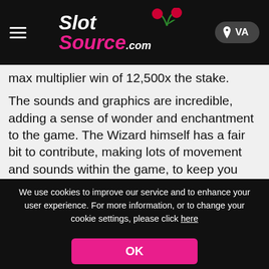SlotSource.com
max multiplier win of 12,500x the stake.
The sounds and graphics are incredible, adding a sense of wonder and enchantment to the game. The Wizard himself has a fair bit to contribute, making lots of movement and sounds within the game, to keep you moving through this mission, alongside all of the action on the game's grid.
If you enjoyed this game, or just enjoy wizard-themed slots in general, then it's safe to say that you are going to love Magician's Secrets slot by Pragmatic Play, which contains all the wonders of wizardry. Or if you're more into the witchy life, it may be worth trying The Magic Cauldron – Enchanted Brew slot – it will have you creating prize-winning potions in no time.
We use cookies to improve our service and to enhance your user experience. For more information, or to change your cookie settings, please click here
OK